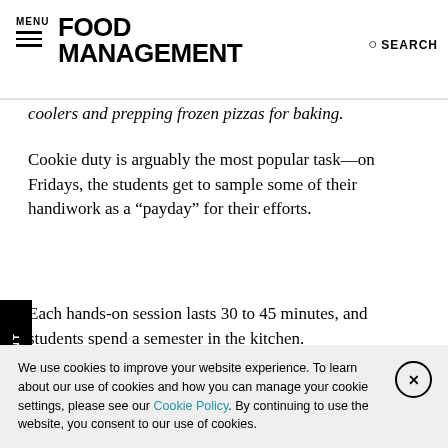MENU | FOOD MANAGEMENT | SEARCH
coolers and prepping frozen pizzas for baking.
Cookie duty is arguably the most popular task—on Fridays, the students get to sample some of their handiwork as a “payday” for their efforts.
Each hands-on session lasts 30 to 45 minutes, and students spend a semester in the kitchen.
The students are a welcome presence in the kitchen, Biasetti
We use cookies to improve your website experience. To learn about our use of cookies and how you can manage your cookie settings, please see our Cookie Policy. By continuing to use the website, you consent to our use of cookies.